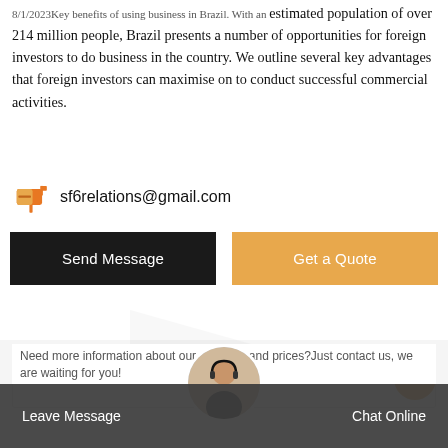8/1/2023Key benefits of using business in Brazil. With an estimated population of over 214 million people, Brazil presents a number of opportunities for foreign investors to do business in the country. We outline several key advantages that foreign investors can maximise on to conduct successful commercial activities.
sf6relations@gmail.com
[Figure (infographic): Two buttons: black 'Send Message' button and orange 'Get a Quote' button]
Stay Touch With Us
Need more information about our products and prices?Just contact us, we are waiting for you!
Leave Message    Chat Online